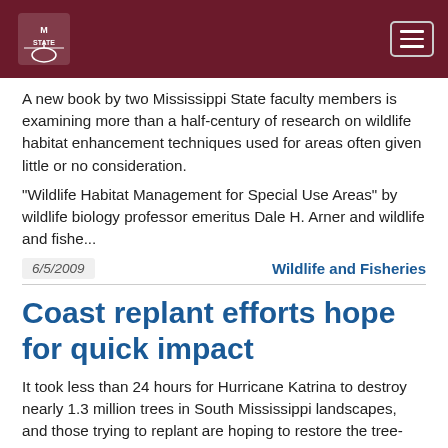Mississippi State University header with logo and menu button
A new book by two Mississippi State faculty members is examining more than a half-century of research on wildlife habitat enhancement techniques used for areas often given little or no consideration.
"Wildlife Habitat Management for Special Use Areas" by wildlife biology professor emeritus Dale H. Arner and wildlife and fishe...
6/5/2009
Wildlife and Fisheries
Coast replant efforts hope for quick impact
It took less than 24 hours for Hurricane Katrina to destroy nearly 1.3 million trees in South Mississippi landscapes, and those trying to replant are hoping to restore the tree-filled skyline as quickly as possible.
The Land Trust for the Mississippi Coastal Plain and the Sun